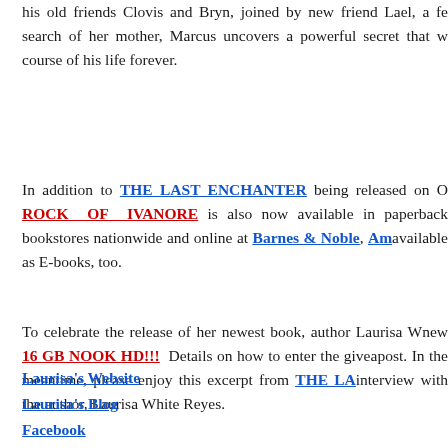his old friends Clovis and Bryn, joined by new friend Lael, a fe... search of her mother, Marcus uncovers a powerful secret that w... course of his life forever.
In addition to THE LAST ENCHANTER being released on O... ROCK OF IVANORE is also now available in paperback... bookstores nationwide and online at Barnes & Noble, Am... available as E-books, too.
To celebrate the release of her newest book, author Laurisa W... new 16 GB NOOK HD!!! Details on how to enter the givea... post. In the meantime, please enjoy this excerpt from THE LA... interview with the author, Laurisa White Reyes.
Laurisa's Website
Laurisa's Blog
Facebook
Twitter